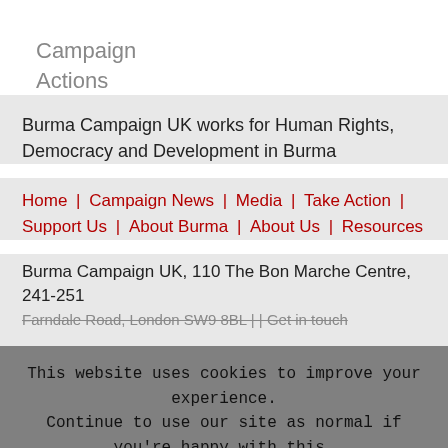Campaign
Actions
Burma Campaign UK works for Human Rights, Democracy and Development in Burma
Home | Campaign News | Media | Take Action | Support Us | About Burma | About Us | Resources
Burma Campaign UK, 110 The Bon Marche Centre, 241-251 Farndale Road, London SW9 8BL | | Get in touch
This website uses cookies to improve your experience. Continue to use our site as normal if you're happy with this, or click 'Read more' to find out how to manage cookies.